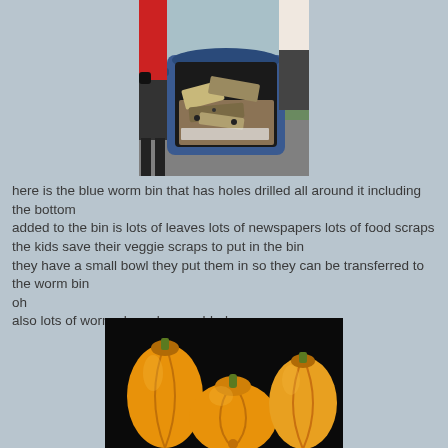[Figure (photo): A blue plastic storage bin with holes drilled around it, containing leaves, newspaper, and composting materials. People standing around it outdoors.]
here is the blue worm bin that has holes drilled all around it including the bottom
added to the bin is lots of leaves lots of newspapers lots of food scraps
the kids save their veggie scraps to put in the bin
they have a small bowl they put them in so they can be transferred to the worm bin
oh
also lots of worms have been added
[Figure (photo): Three yellow/orange pumpkins or squash arranged on a dark background.]